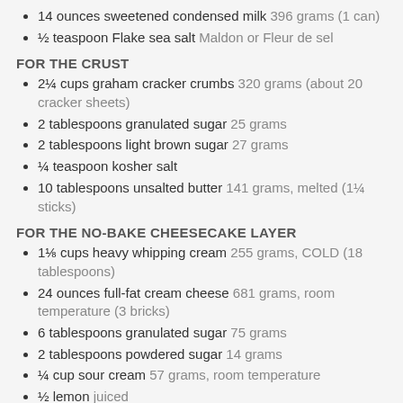14 ounces sweetened condensed milk 396 grams (1 can)
½ teaspoon Flake sea salt Maldon or Fleur de sel
FOR THE CRUST
2¼ cups graham cracker crumbs 320 grams (about 20 cracker sheets)
2 tablespoons granulated sugar 25 grams
2 tablespoons light brown sugar 27 grams
¼ teaspoon kosher salt
10 tablespoons unsalted butter 141 grams, melted (1¼ sticks)
FOR THE NO-BAKE CHEESECAKE LAYER
1⅛ cups heavy whipping cream 255 grams, COLD (18 tablespoons)
24 ounces full-fat cream cheese 681 grams, room temperature (3 bricks)
6 tablespoons granulated sugar 75 grams
2 tablespoons powdered sugar 14 grams
¼ cup sour cream 57 grams, room temperature
½ lemon juiced
1 teaspoon pure vanilla extract 4 grams